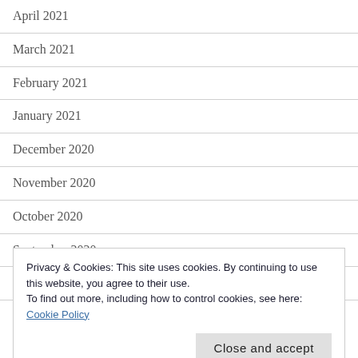April 2021
March 2021
February 2021
January 2021
December 2020
November 2020
October 2020
September 2020
August 2020
Privacy & Cookies: This site uses cookies. By continuing to use this website, you agree to their use.
To find out more, including how to control cookies, see here:
Cookie Policy
Close and accept